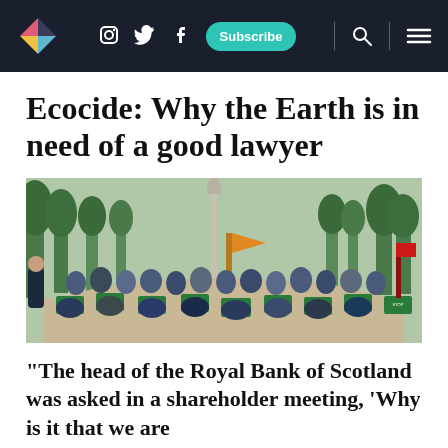Navigation bar with logo, social icons (Instagram, Twitter, Facebook), Subscribe button, search and menu icons
Ecocide: Why the Earth is in need of a good lawyer
[Figure (photo): Wide-angle outdoor photograph of a large crowd of people sitting and standing in a park or public square, many holding green 'Stop Ecocide' protest signs. Trees and a tall column monument visible in the background.]
“The head of the Royal Bank of Scotland was asked in a shareholder meeting, ‘Why is it that we are